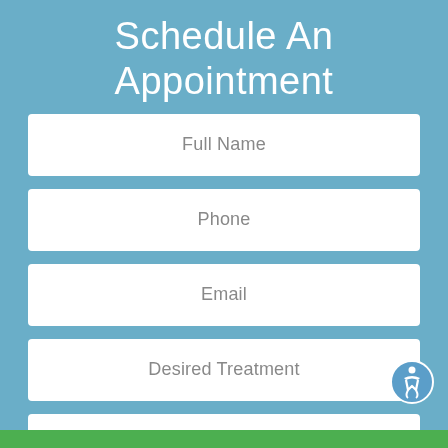Schedule An Appointment
Full Name
Phone
Email
Desired Treatment
Desired Appt. Date & Time